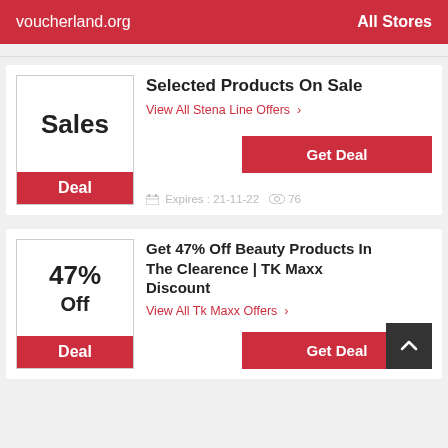voucherland.org    All Stores
Selected Products On Sale
View All Stena Line Offers >
Get Deal
Expires : 21-11-22   76
Get 47% Off Beauty Products In The Clearence | TK Maxx Discount
View All Tk Maxx Offers >
Get Deal